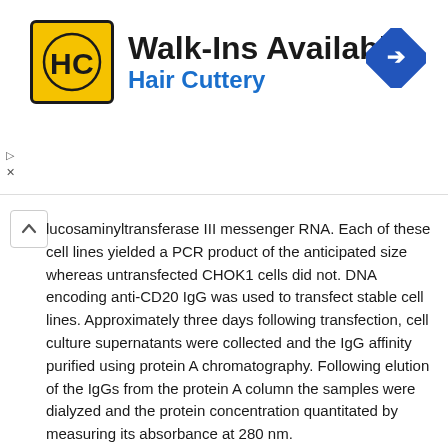[Figure (logo): Hair Cuttery advertisement banner with HC logo, 'Walk-Ins Available' heading, 'Hair Cuttery' subtitle in blue, and a blue direction sign icon]
lucosaminyltransferase III messenger RNA. Each of these cell lines yielded a PCR product of the anticipated size whereas untransfected CHOK1 cells did not. DNA encoding anti-CD20 IgG was used to transfect stable cell lines. Approximately three days following transfection, cell culture supernatants were collected and the IgG affinity purified using protein A chromatography. Following elution of the IgGs from the protein A column the samples were dialyzed and the protein concentration quantitated by measuring its absorbance at 280 nm.
The IgG samples expressed from the different CHOK1 cell lines were tested for the ability to elicit antibody dependent cell-mediated cytotoxicity (ADCC) using methods described in Example 5. Peripheral blood lymphocytes, isolated from fresh human blood were used as the effector cells and WIL.2s B cells were used as the target cells in these experiments. The amount of target cell lysis was measured using a standard lactate dehydrogenase release assay. The IgG expressed from the engineered CHOK1 cell lines were compared directly with IgG expressed from non-engineered CHOK1 cell lines and commercial RITUXAN antibody for the